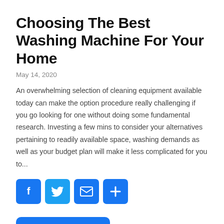Choosing The Best Washing Machine For Your Home
May 14, 2020
An overwhelming selection of cleaning equipment available today can make the option procedure really challenging if you go looking for one without doing some fundamental research. Investing a few mins to consider your alternatives pertaining to readily available space, washing demands as well as your budget plan will make it less complicated for you to...
[Figure (infographic): Four social sharing buttons: Facebook (f), Twitter (bird), Email (envelope), and More (+), all in blue rounded squares]
Read More